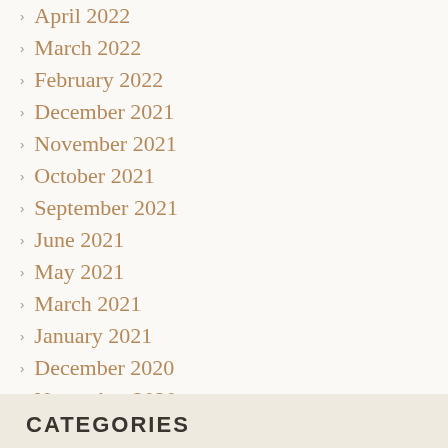April 2022
March 2022
February 2022
December 2021
November 2021
October 2021
September 2021
June 2021
May 2021
March 2021
January 2021
December 2020
November 2020
October 2020
June 2020
CATEGORIES